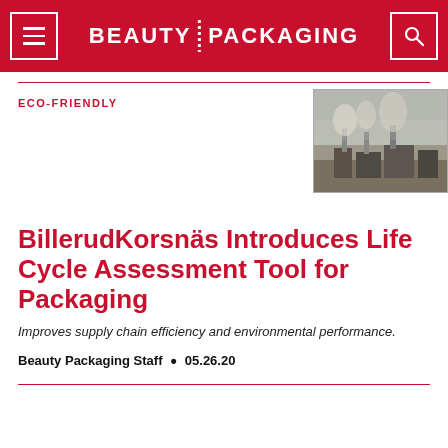BEAUTY PACKAGING
ECO-FRIENDLY
[Figure (photo): Aerial view of an industrial facility with smoke/steam rising, misty atmospheric conditions]
BillerudKorsnäs Introduces Life Cycle Assessment Tool for Packaging
Improves supply chain efficiency and environmental performance.
Beauty Packaging Staff  •  05.26.20